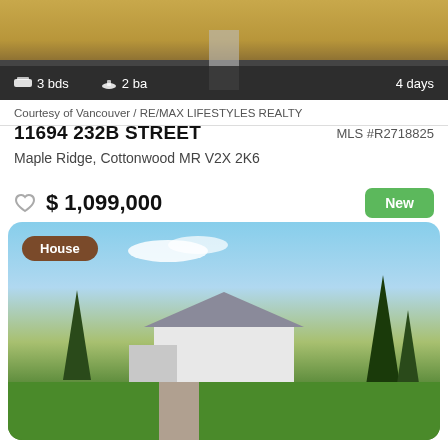[Figure (photo): Aerial view of property with road and fields, showing 3 bds, 2 ba, 4 days on market badge bar]
Courtesy of Vancouver / RE/MAX LIFESTYLES REALTY
11694 232B STREET
MLS #R2718825
Maple Ridge, Cottonwood MR V2X 2K6
$ 1,099,000
[Figure (photo): Exterior photo of a house (House badge) with trees, lawn, garage, blue sky with clouds]